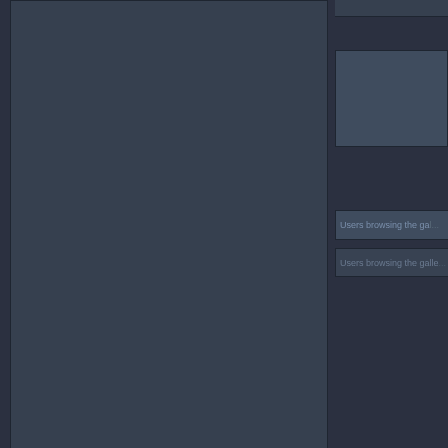[Figure (screenshot): Dark-themed website layout with left main content panel (dark gray), right sidebar with input box and users browsing gallery section]
Random Images - Gallery
[Figure (photo): Photo of a Jeep-style vehicle with open top in a forest setting with green trees]
Users browsing the ga...
Users browsing the galle...